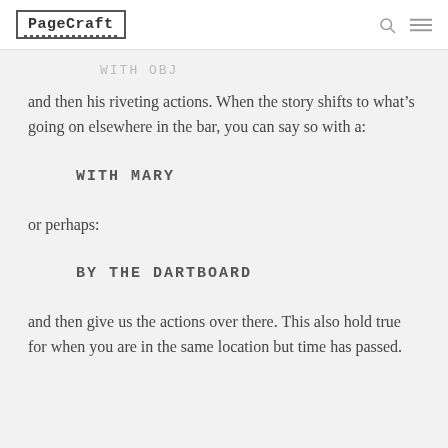PageCraft
WITH OBJ
and then his riveting actions. When the story shifts to what’s going on elsewhere in the bar, you can say so with a:
WITH MARY
or perhaps:
BY THE DARTBOARD
and then give us the actions over there. This also hold true for when you are in the same location but time has passed.